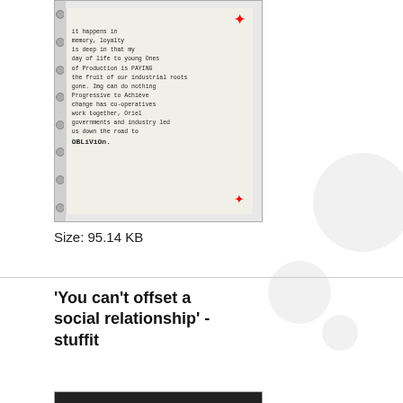[Figure (photo): Handwritten notebook page with text about memory, leadership, production, and oblivion. Red star/asterisk marks at top-right and bottom-right corners of the writing.]
Size: 95.14 KB
'You can't offset a social relationship' - stuffit
[Figure (illustration): Book cover with bright green background, dark jagged wave/zigzag pattern at top, text 'YOU CAN OFFSET' in large white letters, a vertical black bar on the right side, small blue/teal dots scattered on the right, and author name at bottom.]